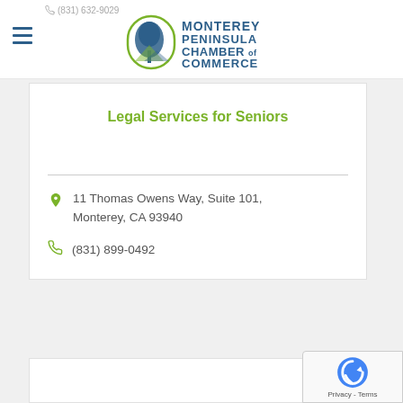(831) 632-9029 — Monterey Peninsula Chamber of Commerce
Legal Services for Seniors
11 Thomas Owens Way, Suite 101, Monterey, CA 93940
(831) 899-0492